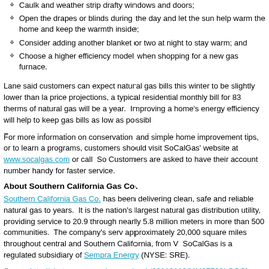Caulk and weather strip drafty windows and doors;
Open the drapes or blinds during the day and let the sun help warm the home and keep the warmth inside;
Consider adding another blanket or two at night to stay warm; and
Choose a higher efficiency model when shopping for a new gas furnace.
Lane said customers can expect natural gas bills this winter to be slightly lower than last year. Based on current price projections, a typical residential monthly bill for 83 therms of natural gas will be approximately $95 this year. Improving a home's energy efficiency will help to keep gas bills as low as possible.
For more information on conservation and simple home improvement tips, or to learn about financial assistance programs, customers should visit SoCalGas' website at www.socalgas.com or call SoCalGas. Customers are asked to have their account number handy for faster service.
About Southern California Gas Co.
Southern California Gas Co. has been delivering clean, safe and reliable natural gas to customers for more than 140 years. It is the nation's largest natural gas distribution utility, providing service to 20.9 million customers through nearly 5.8 million meters in more than 500 communities. The company's service territory spans approximately 20,000 square miles throughout central and Southern California, from Visalia to the Mexican border. SoCalGas is a regulated subsidiary of Sempra Energy (NYSE: SRE).
(Logo:: http://photos.prnewswire.com/prnh/20110110/MM27708LOGO)
SOURCE Southern California Gas Co.
For further information: Denise King, Southern California Gas Co., 1-877-643-2331, w...